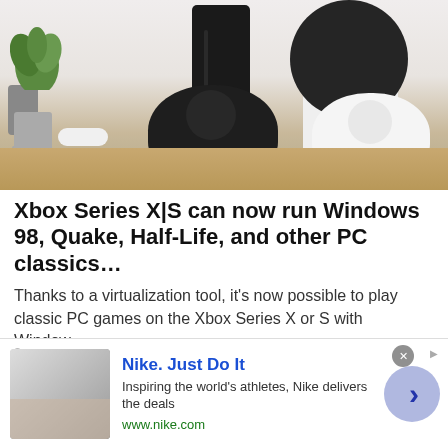[Figure (photo): Xbox Series X and Xbox Series S consoles with controllers on a wooden table, with a plant and speaker in background]
Xbox Series X|S can now run Windows 98, Quake, Half-Life, and other PC classics…
Thanks to a virtualization tool, it's now possible to play classic PC games on the Xbox Series X or S with Window…
Windows Central
[Figure (photo): Partial view of a second article image showing a red/pink rounded surface]
Nike. Just Do It
Inspiring the world's athletes, Nike delivers the deals
www.nike.com